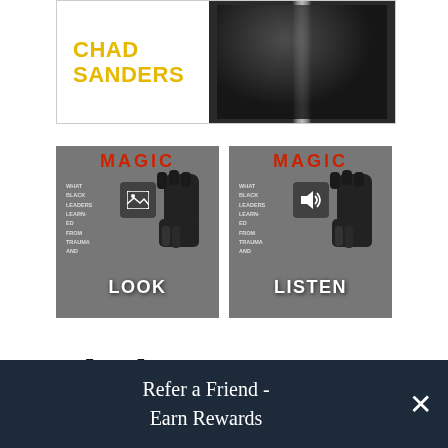[Figure (illustration): Book cover showing 'CHAD SANDERS' in yellow text on white left side and dark/black right side with a spine stripe]
[Figure (illustration): Two book format thumbnails side by side: left shows LOOK (photo format) with image icon, right shows LISTEN (audio format) with speaker icon. Both show Black Magic book cover with red MAGIC text and raised fist.]
Black Magic
What Black Leaders Learned from Trauma and Triumph
By Chad Sanders
Refer a Friend - Earn Rewards